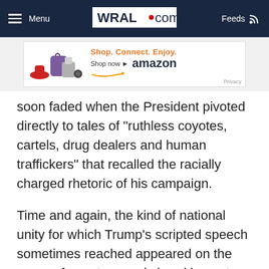Menu | WRAL.com | Feeds
[Figure (screenshot): Amazon advertisement banner: Shop. Connect. Enjoy. Shop now. Amazon logo with smile. Privacy.]
soon faded when the President pivoted directly to tales of "ruthless coyotes, cartels, drug dealers and human traffickers" that recalled the racially charged rhetoric of his campaign.
Time and again, the kind of national unity for which Trump's scripted speech sometimes reached appeared on the verge of spontaneously breaking out.